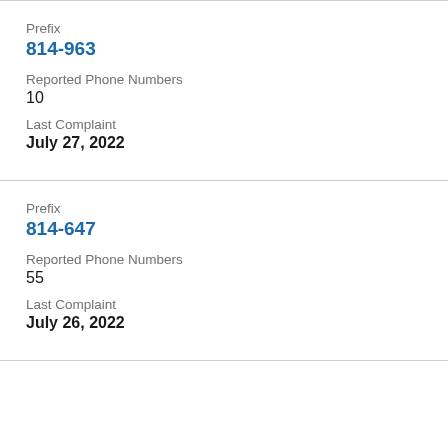Prefix
814-963
Reported Phone Numbers
10
Last Complaint
July 27, 2022
Prefix
814-647
Reported Phone Numbers
55
Last Complaint
July 26, 2022